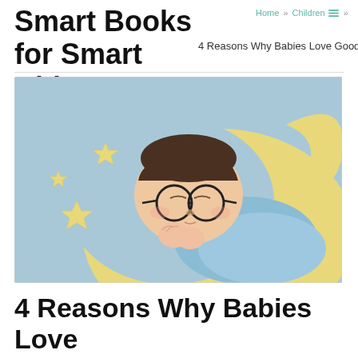Smart Books for Smart Kids
Home » Children's » 4 Reasons Why Babies Love Goodnight Moon
[Figure (photo): A sleeping newborn baby wearing round glasses, nestled in a crescent moon-shaped yellow pillow with star-shaped pillows on a blue background.]
4 Reasons Why Babies Love